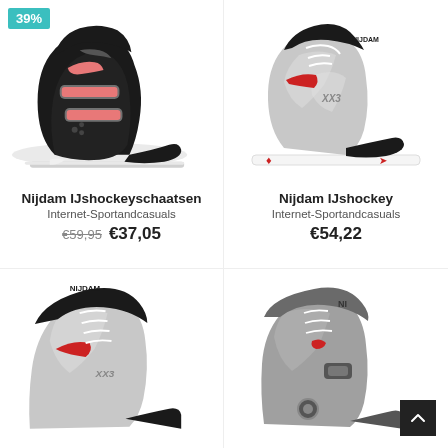[Figure (photo): Black Nijdam ice hockey skate with pink accents, 39% discount badge in teal top-left corner]
Nijdam Ijshockeyschaatsen
Internet-Sportandcasuals
€59,95  €37,05
[Figure (photo): Silver/white Nijdam XX3 ice hockey skate with red accents on white background]
Nijdam Ijshockey
Internet-Sportandcasuals
€54,22
[Figure (photo): Silver/white Nijdam XX3 ice hockey skate with red accents, bottom-left product, partially cropped]
[Figure (photo): Grey Nijdam ice hockey skate with dark grey accents, bottom-right product, partially cropped]